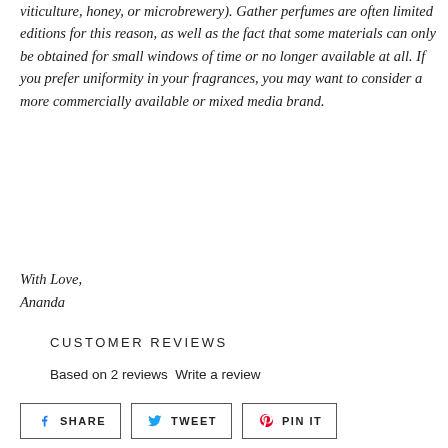viticulture, honey, or microbrewery). Gather perfumes are often limited editions for this reason, as well as the fact that some materials can only be obtained for small windows of time or no longer available at all. If you prefer uniformity in your fragrances, you may want to consider a more commercially available or mixed media brand.
With Love,
Ananda
CUSTOMER REVIEWS
Based on 2 reviews Write a review
[Figure (other): Three social sharing buttons: SHARE (Facebook), TWEET (Twitter), PIN IT (Pinterest)]